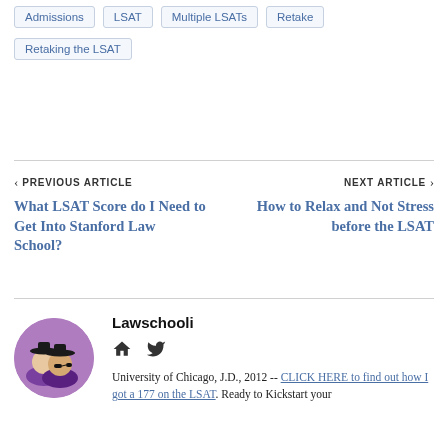Admissions
LSAT
Multiple LSATs
Retake
Retaking the LSAT
PREVIOUS ARTICLE — What LSAT Score do I Need to Get Into Stanford Law School?
NEXT ARTICLE — How to Relax and Not Stress before the LSAT
Lawschooli
University of Chicago, J.D., 2012 -- CLICK HERE to find out how I got a 177 on the LSAT. Ready to Kickstart your